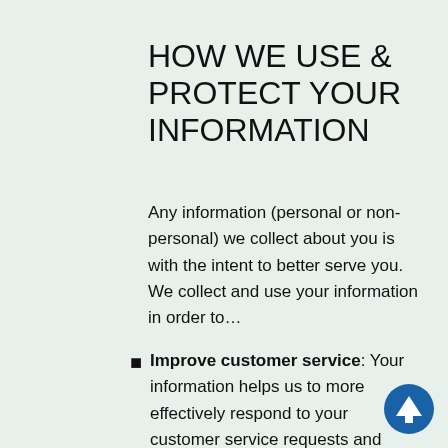HOW WE USE & PROTECT YOUR INFORMATION
Any information (personal or non-personal) we collect about you is with the intent to better serve you. We collect and use your information in order to…
Improve customer service: Your information helps us to more effectively respond to your customer service requests and support needs.
[Figure (other): Blue circular button with upward-pointing arrow icon]